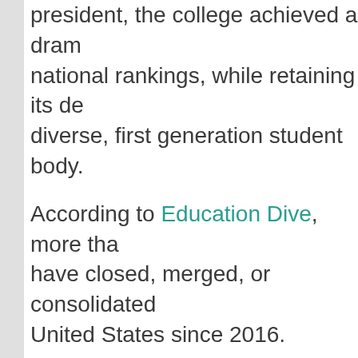president, the college achieved a dramatic rise in national rankings, while retaining its dedication to a diverse, first generation student body.
According to Education Dive, more than [x] colleges have closed, merged, or consolidated in the United States since 2016.
For over three decades, Mr. Cooper has handled on behalf of clients a wide array of cases, often involving high-profile issues. She concentrates her practice on counseling and corporate clients in complex business general commercial litigation, employment...